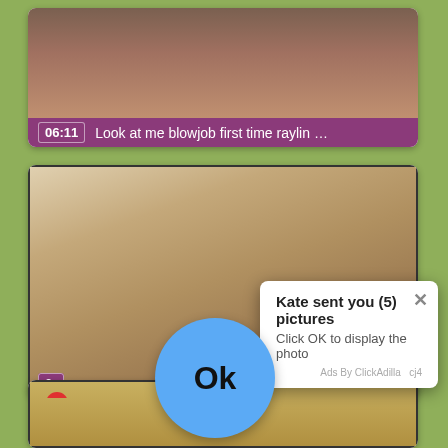[Figure (screenshot): Video thumbnail card 1 with title bar showing time 06:11 and title 'Look at me blowjob first time raylin ...']
[Figure (screenshot): Video thumbnail card 2 with notification popup overlay. Popup shows 'Kate sent you (5) pictures', 'Click OK to display the photo', blue OK circle button, and 'Ads By ClickAdilla' label.]